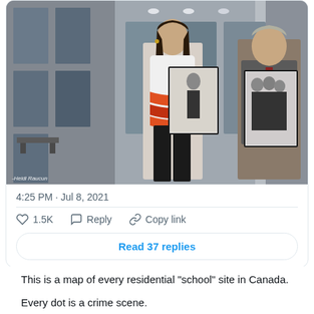[Figure (photo): Two people standing in front of a building holding black and white historical photographs. A woman on the left wearing a white top with orange stripe design holds a photo of a priest-like figure. A man on the right in a grey suit holds a photo of a group of people. Photo credit: Heidi Raucun.]
4:25 PM · Jul 8, 2021
♡ 1.5K   Reply   Copy link
Read 37 replies
This is a map of every residential "school" site in Canada.
Every dot is a crime scene.